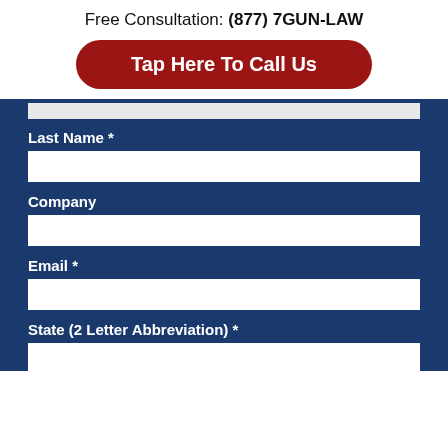Free Consultation: (877) 7GUN-LAW
[Figure (other): Red rounded button labeled 'Tap Here To Call Us']
Last Name *
Company
Email *
State (2 Letter Abbreviation) *
Phone